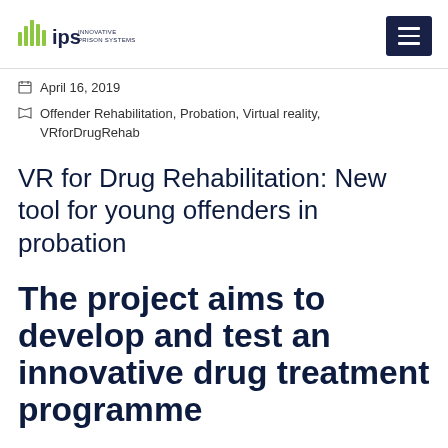IPS Innovative Prison Systems
April 16, 2019
Offender Rehabilitation, Probation, Virtual reality, VRforDrugRehab
VR for Drug Rehabilitation: New tool for young offenders in probation
The project aims to develop and test an innovative drug treatment programme